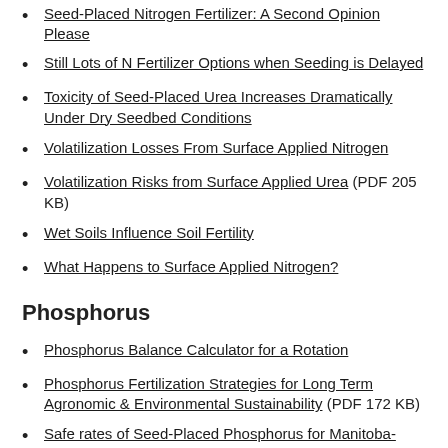Seed-Placed Nitrogen Fertilizer: A Second Opinion Please
Still Lots of N Fertilizer Options when Seeding is Delayed
Toxicity of Seed-Placed Urea Increases Dramatically Under Dry Seedbed Conditions
Volatilization Losses From Surface Applied Nitrogen
Volatilization Risks from Surface Applied Urea (PDF 205 KB)
Wet Soils Influence Soil Fertility
What Happens to Surface Applied Nitrogen?
Phosphorus
Phosphorus Balance Calculator for a Rotation
Phosphorus Fertilization Strategies for Long Term Agronomic & Environmental Sustainability  (PDF 172 KB)
Safe rates of Seed-Placed Phosphorus for Manitoba-Narrow Row and Row Crops